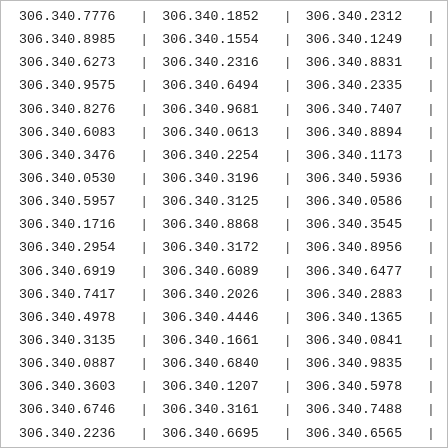| 306.340.7776 | | | 306.340.1852 | | | 306.340.2312 | | |
| 306.340.8985 | | | 306.340.1554 | | | 306.340.1249 | | |
| 306.340.6273 | | | 306.340.2316 | | | 306.340.8831 | | |
| 306.340.9575 | | | 306.340.6494 | | | 306.340.2335 | | |
| 306.340.8276 | | | 306.340.9681 | | | 306.340.7407 | | |
| 306.340.6083 | | | 306.340.0613 | | | 306.340.8894 | | |
| 306.340.3476 | | | 306.340.2254 | | | 306.340.1173 | | |
| 306.340.0530 | | | 306.340.3196 | | | 306.340.5936 | | |
| 306.340.5957 | | | 306.340.3125 | | | 306.340.0586 | | |
| 306.340.1716 | | | 306.340.8868 | | | 306.340.3545 | | |
| 306.340.2954 | | | 306.340.3172 | | | 306.340.8956 | | |
| 306.340.6919 | | | 306.340.6089 | | | 306.340.6477 | | |
| 306.340.7417 | | | 306.340.2026 | | | 306.340.2883 | | |
| 306.340.4978 | | | 306.340.4446 | | | 306.340.1365 | | |
| 306.340.3135 | | | 306.340.1661 | | | 306.340.0841 | | |
| 306.340.0887 | | | 306.340.6840 | | | 306.340.9835 | | |
| 306.340.3603 | | | 306.340.1207 | | | 306.340.5978 | | |
| 306.340.6746 | | | 306.340.3161 | | | 306.340.7488 | | |
| 306.340.2236 | | | 306.340.6695 | | | 306.340.6565 | | |